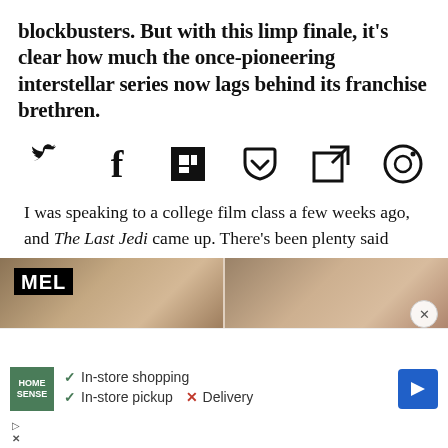blockbusters. But with this limp finale, it's clear how much the once-pioneering interstellar series now lags behind its franchise brethren.
[Figure (infographic): Row of six social media sharing icons: Twitter (bird), Facebook (f), Flipboard (F in box), Pocket/save (checkmark in envelope), Share (arrow in box), Instagram (camera circle)]
I was speaking to a college film class a few weeks ago, and The Last Jedi came up. There's been plenty said about that
[Figure (photo): Two side-by-side images showing close-up of hair/person with MEL logo in top left corner and three-dot menu on the right side]
[Figure (infographic): Advertisement overlay: Home Sense logo, checkmarks for In-store shopping and In-store pickup, X for Delivery, blue arrow navigation icon. Close button (X) in corner.]